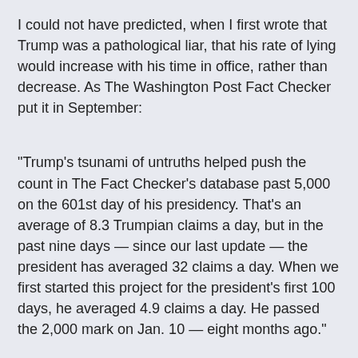I could not have predicted, when I first wrote that Trump was a pathological liar, that his rate of lying would increase with his time in office, rather than decrease. As The Washington Post Fact Checker put it in September:
“Trump’s tsunami of untruths helped push the count in The Fact Checker’s database past 5,000 on the 601st day of his presidency. That’s an average of 8.3 Trumpian claims a day, but in the past nine days — since our last update — the president has averaged 32 claims a day. When we first started this project for the president’s first 100 days, he averaged 4.9 claims a day. He passed the 2,000 mark on Jan. 10 — eight months ago.”
Just this month, the newspaper’s Fact Checker was forced to create a new category of lying just for the Trump era: the “Bottomless Pinocchio” for “when a politician refuses to drop